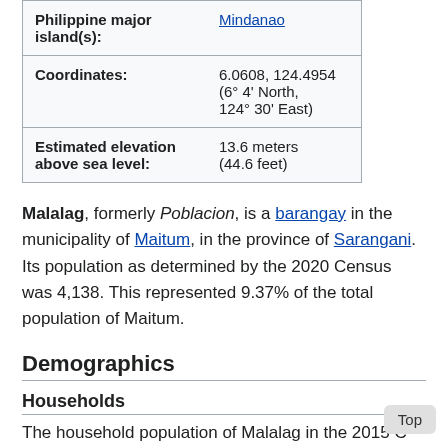| Field | Value |
| --- | --- |
| Philippine major island(s): | Mindanao |
| Coordinates: | 6.0608, 124.4954 (6° 4' North, 124° 30' East) |
| Estimated elevation above sea level: | 13.6 meters (44.6 feet) |
Malalag, formerly Poblacion, is a barangay in the municipality of Maitum, in the province of Sarangani. Its population as determined by the 2020 Census was 4,138. This represented 9.37% of the total population of Maitum.
Demographics
Households
The household population of Malalag in the 2015 C...